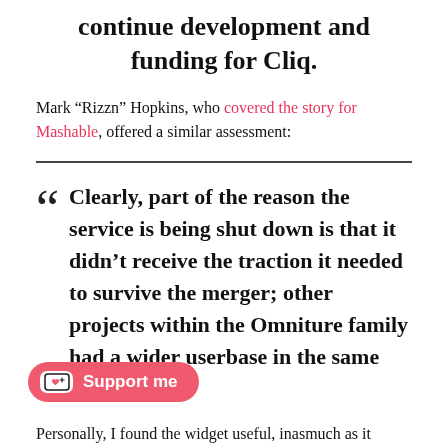continue development and funding for Cliq.
Mark “Rizzn” Hopkins, who covered the story for Mashable, offered a similar assessment:
Clearly, part of the reason the service is being shut down is that it didn’t receive the traction it needed to survive the merger; other projects within the Omniture family had a wider userbase in the same space.
Personally, I found the widget useful, inasmuch as it provided additional metrics for determining what Silicon Florist traffic w[as coming from among Po]rtland blogs. Plus, it served as a[n easy way of asse]ssing the popularity of companies, subjects, and stories